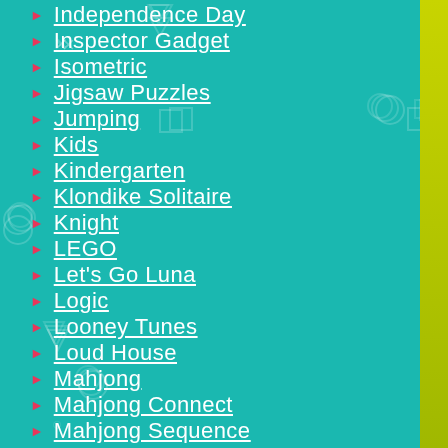Independence Day
Inspector Gadget
Isometric
Jigsaw Puzzles
Jumping
Kids
Kindergarten
Klondike Solitaire
Knight
LEGO
Let's Go Luna
Logic
Looney Tunes
Loud House
Mahjong
Mahjong Connect
Mahjong Sequence
Mahjong Slide
Mahjong Solitaire